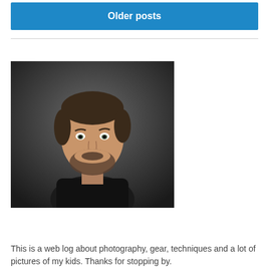Older posts
[Figure (photo): Portrait photo of a bearded man in a black t-shirt against a dark gray background]
This is a web log about photography, gear, techniques and a lot of pictures of my kids. Thanks for stopping by.